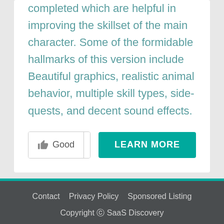completed which are helpful in improving the skillset of the main character. Some of the formidable hallmarks of this version include Beautiful graphics, realistic animal behavior, multiple skill types, side-quests, and decent sound effects.
👍 Good  0  👎  LEARN MORE
Contact  Privacy Policy  Sponsored Listing
Copyright © SaaS Discovery